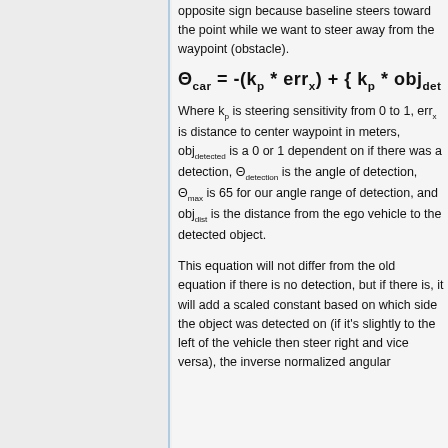opposite sign because baseline steers toward the point while we want to steer away from the waypoint (obstacle).
Where k_p is steering sensitivity from 0 to 1, err_x is distance to center waypoint in meters, obj_detected is a 0 or 1 dependent on if there was a detection, Θ_detection is the angle of detection, Θ_max is 65 for our angle range of detection, and obj_dist is the distance from the ego vehicle to the detected object.
This equation will not differ from the old equation if there is no detection, but if there is, it will add a scaled constant based on which side the object was detected on (if it's slightly to the left of the vehicle then steer right and vice versa), the inverse normalized angular